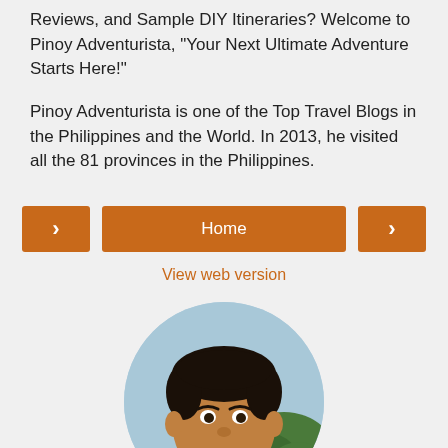Reviews, and Sample DIY Itineraries? Welcome to Pinoy Adventurista, "Your Next Ultimate Adventure Starts Here!"
Pinoy Adventurista is one of the Top Travel Blogs in the Philippines and the World. In 2013, he visited all the 81 provinces in the Philippines.
[Figure (screenshot): Navigation row with left arrow button, Home button, and right arrow button in orange]
View web version
[Figure (photo): Circular profile photo of a smiling Filipino man with trees in background]